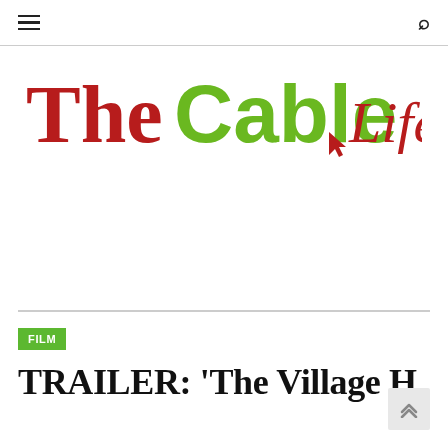TheCable Lifestyle — navigation bar with hamburger menu and search icon
[Figure (logo): TheCable Lifestyle logo: 'The' in dark red serif, 'Cable' in green bold sans-serif, cursor icon in dark red, 'Lifestyle' in dark red italic serif]
FILM
TRAILER: 'The Village H...